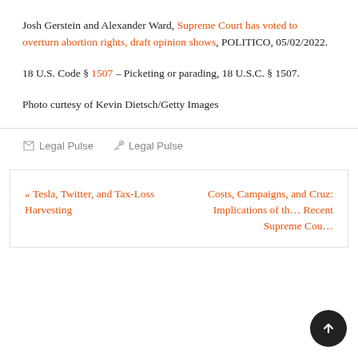Josh Gerstein and Alexander Ward, Supreme Court has voted to overturn abortion rights, draft opinion shows, POLITICO, 05/02/2022.
18 U.S. Code § 1507 – Picketing or parading, 18 U.S.C. § 1507.
Photo curtesy of Kevin Dietsch/Getty Images
Legal Pulse  Legal Pulse
« Tesla, Twitter, and Tax-Loss Harvesting    Costs, Campaigns, and Cruz: Implications of the Recent Supreme Cou...